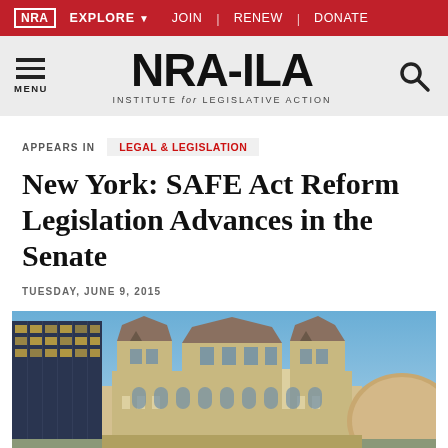NRA EXPLORE ▾   JOIN | RENEW | DONATE
[Figure (logo): NRA-ILA logo with text INSTITUTE for LEGISLATIVE ACTION, hamburger menu icon and search icon]
APPEARS IN   LEGAL & LEGISLATION
New York: SAFE Act Reform Legislation Advances in the Senate
TUESDAY, JUNE 9, 2015
[Figure (photo): Exterior photograph of the New York State Capitol building at dusk with surrounding government buildings, blue sky]